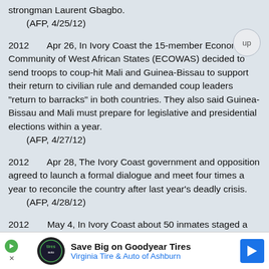strongman Laurent Gbagbo.
    (AFP, 4/25/12)
2012     Apr 26, In Ivory Coast the 15-member Economic Community of West African States (ECOWAS) decided to send troops to coup-hit Mali and Guinea-Bissau to support their return to civilian rule and demanded coup leaders "return to barracks" in both countries. They also said Guinea-Bissau and Mali must prepare for legislative and presidential elections within a year.
    (AFP, 4/27/12)
2012     Apr 28, The Ivory Coast government and opposition agreed to launch a formal dialogue and meet four times a year to reconcile the country after last year's deadly crisis.
    (AFP, 4/28/12)
2012     May 4, In Ivory Coast about 50 inmates staged a jailbreak from the main prison
[Figure (infographic): Advertisement banner: Save Big on Goodyear Tires - Virginia Tire & Auto of Ashburn, with logos and blue arrow icon]